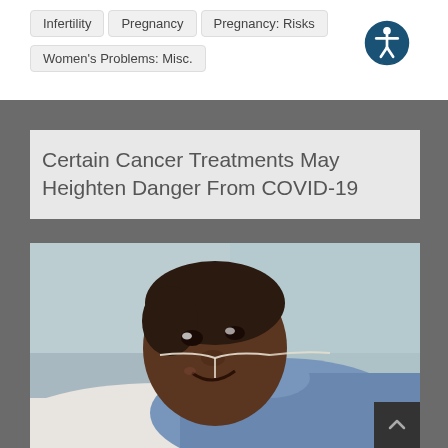Infertility
Pregnancy
Pregnancy: Risks
Women's Problems: Misc.
Certain Cancer Treatments May Heighten Danger From COVID-19
[Figure (photo): A Black woman lying in a hospital bed, smiling, with a nasal oxygen cannula, wearing a blue hospital gown, with a white pillow behind her.]